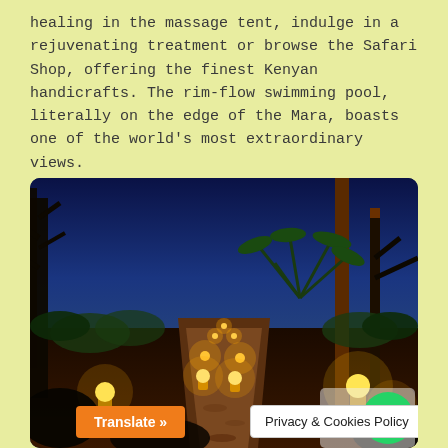healing in the massage tent, indulge in a rejuvenating treatment or browse the Safari Shop, offering the finest Kenyan handicrafts. The rim-flow swimming pool, literally on the edge of the Mara, boasts one of the world's most extraordinary views.
[Figure (photo): Night-time pathway lit by lanterns at a safari camp, with tall trees silhouetted against a deep blue night sky, and tropical plants along the path.]